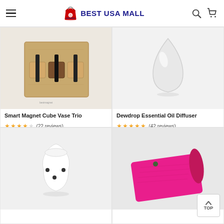BEST USA MALL
[Figure (photo): Smart Magnet Cube Vase Trio product — wooden magnetic vase holders with dark flower tubes on kraft cardboard packaging, light background]
Smart Magnet Cube Vase Trio
★★★★★ (22 reviews)
[Figure (photo): Dewdrop Essential Oil Diffuser product — white teardrop-shaped diffuser on light background]
Dewdrop Essential Oil Diffuser
★★★★★ (42 reviews)
[Figure (photo): White ceramic product resembling a small pot or diffuser with dot pattern on light background]
[Figure (photo): Pink/magenta yoga mat partially rolled, on light background]